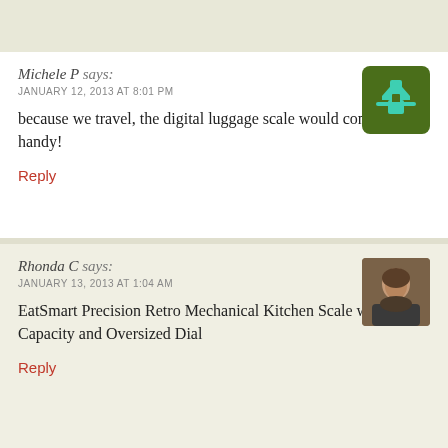Michele P says:
JANUARY 12, 2013 AT 8:01 PM
because we travel, the digital luggage scale would come in handy!
Reply
Rhonda C says:
JANUARY 13, 2013 AT 1:04 AM
EatSmart Precision Retro Mechanical Kitchen Scale w/ 11 lb. Capacity and Oversized Dial
Reply